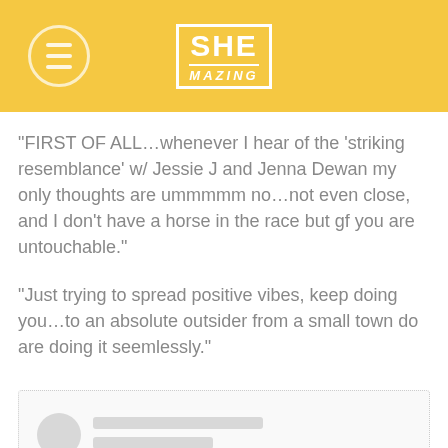[Figure (logo): SHEmazing logo on yellow/gold header background with hamburger menu icon on left]
“FIRST OF ALL…whenever I hear of the ‘striking resemblance’ w/ Jessie J and Jenna Dewan my only thoughts are ummmmm no…not even close, and I don’t have a horse in the race but gf you are untouchable.”
“Just trying to spread positive vibes, keep doing you…to an absolute outsider from a small town do are doing it seemlessly.”
[Figure (screenshot): Blurred/redacted social media comment screenshot with grey avatar circle and placeholder lines]